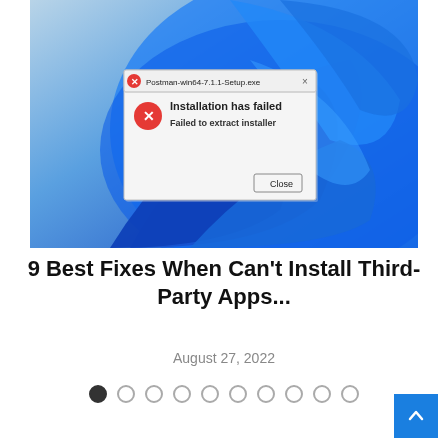[Figure (screenshot): Windows 11 desktop showing a Postman installation error dialog. The dialog titled 'Postman-win64-7.1.1-Setup.exe' shows 'Installation has failed' with message 'Failed to extract installer' and a Close button. Windows 11 blue wave wallpaper visible in background.]
9 Best Fixes When Can't Install Third-Party Apps...
August 27, 2022